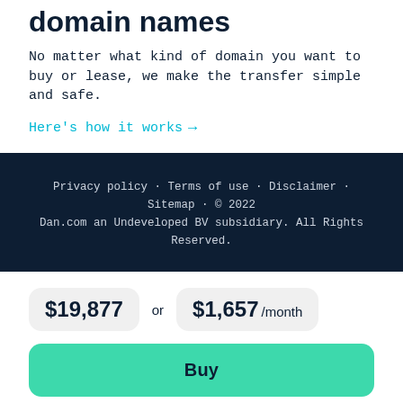domain names
No matter what kind of domain you want to buy or lease, we make the transfer simple and safe.
Here's how it works →
Privacy policy · Terms of use · Disclaimer · Sitemap · © 2022 Dan.com an Undeveloped BV subsidiary. All Rights Reserved.
$19,877 or $1,657 /month
Buy